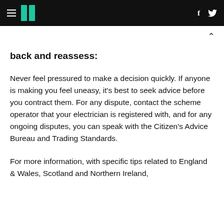HuffPost (header with hamburger menu, logo, social icons f and bird)
back and reassess:
Never feel pressured to make a decision quickly. If anyone is making you feel uneasy, it's best to seek advice before you contract them. For any dispute, contact the scheme operator that your electrician is registered with, and for any ongoing disputes, you can speak with the Citizen's Advice Bureau and Trading Standards.
For more information, with specific tips related to England & Wales, Scotland and Northern Ireland,